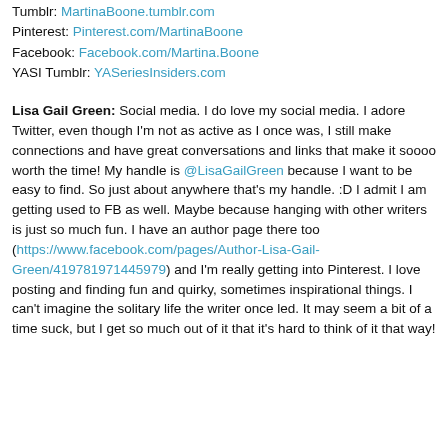Tumblr: MartinaBoone.tumblr.com
Pinterest: Pinterest.com/MartinaBoone
Facebook: Facebook.com/Martina.Boone
YASI Tumblr: YASeriesInsiders.com
Lisa Gail Green: Social media. I do love my social media. I adore Twitter, even though I'm not as active as I once was, I still make connections and have great conversations and links that make it soooo worth the time! My handle is @LisaGailGreen because I want to be easy to find. So just about anywhere that's my handle. :D I admit I am getting used to FB as well. Maybe because hanging with other writers is just so much fun. I have an author page there too (https://www.facebook.com/pages/Author-Lisa-Gail-Green/419781971445979) and I'm really getting into Pinterest. I love posting and finding fun and quirky, sometimes inspirational things. I can't imagine the solitary life the writer once led. It may seem a bit of a time suck, but I get so much out of it that it's hard to think of it that way!